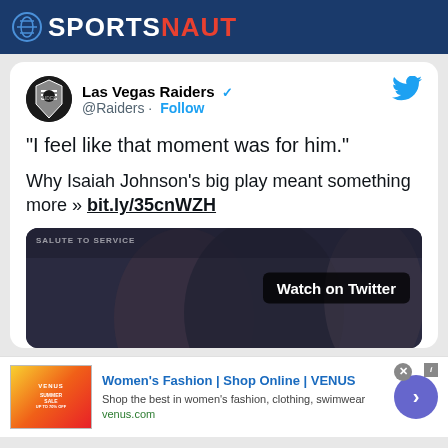SPORTSNAUT
[Figure (screenshot): Tweet from Las Vegas Raiders (@Raiders) with verified badge and Follow button. Tweet text: “I feel like that moment was for him.” Why Isaiah Johnson's big play meant something more » bit.ly/35cnWZH. Includes a video thumbnail showing two football players with text 'Watch on Twitter'.]
[Figure (other): Advertisement: Women's Fashion | Shop Online | VENUS. Shop the best in women's fashion, clothing, swimwear. venus.com]